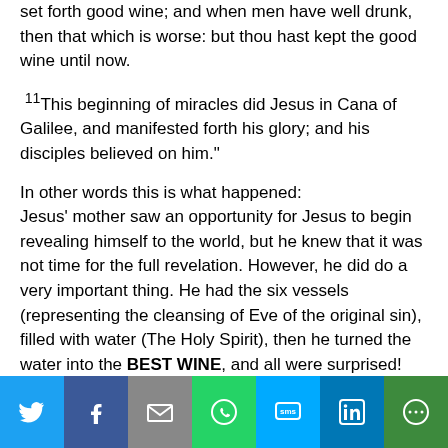set forth good wine; and when men have well drunk, then that which is worse: but thou hast kept the good wine until now.
11This beginning of miracles did Jesus in Cana of Galilee, and manifested forth his glory; and his disciples believed on him."
In other words this is what happened:
Jesus' mother saw an opportunity for Jesus to begin revealing himself to the world, but he knew that it was not time for the full revelation. However, he did do a very important thing. He had the six vessels (representing the cleansing of Eve of the original sin), filled with water (The Holy Spirit), then he turned the water into the BEST WINE, and all were surprised! Because you NEVER give the best wine (the NEW WINE) last!
[Figure (infographic): Social media sharing bar with icons: Twitter (blue), Facebook (dark blue), Email (gray), WhatsApp (green), SMS (light blue), LinkedIn (blue), More (dark green)]